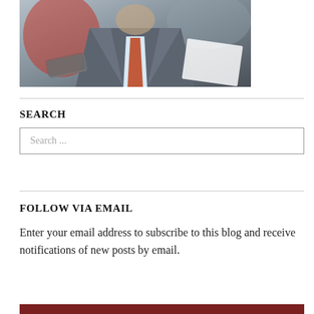[Figure (photo): Photo of a man in a grey suit with a salmon/orange tie, being interviewed with microphones and papers in the foreground]
SEARCH
Search ...
FOLLOW VIA EMAIL
Enter your email address to subscribe to this blog and receive notifications of new posts by email.